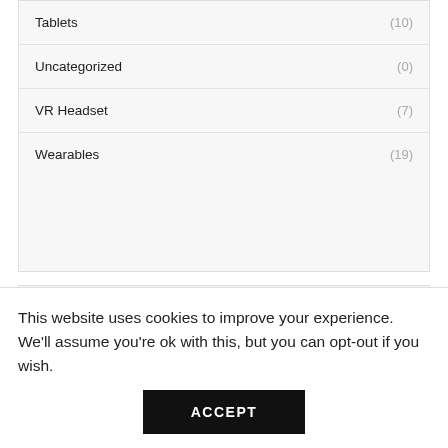Tablets (10)
Uncategorized (0)
VR Headset (7)
Wearables (19)
Filter By Price
This website uses cookies to improve your experience. We'll assume you're ok with this, but you can opt-out if you wish.
ACCEPT